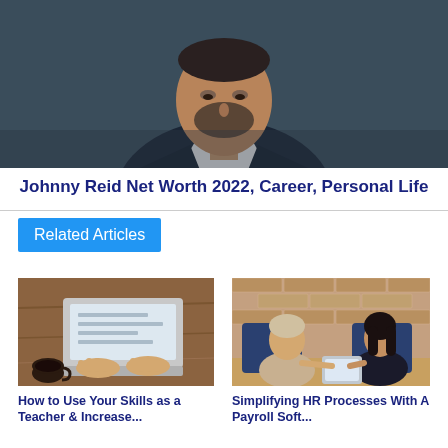[Figure (photo): Portrait of a bearded man in a dark suit looking downward, against a dark gray background]
Johnny Reid Net Worth 2022, Career, Personal Life
Related Articles
[Figure (photo): Overhead view of hands typing on a laptop on a wooden desk with a coffee cup nearby]
How to Use Your Skills as a Teacher & Increase...
[Figure (photo): Two women sitting at a desk in an office setting, one showing a tablet to the other, brick wall background]
Simplifying HR Processes With A Payroll Soft...